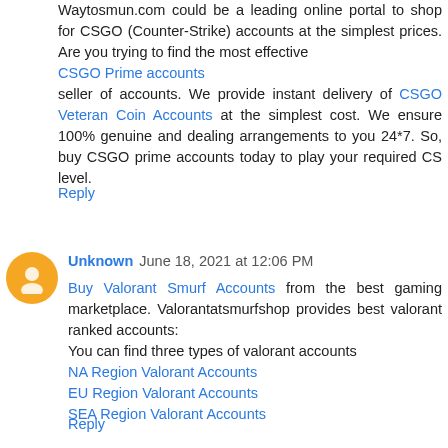Waytosmun.com could be a leading online portal to shop for CSGO (Counter-Strike) accounts at the simplest prices. Are you trying to find the most effective CSGO Prime accounts seller of accounts. We provide instant delivery of CSGO Veteran Coin Accounts at the simplest cost. We ensure 100% genuine and dealing arrangements to you 24*7. So, buy CSGO prime accounts today to play your required CS level.
Reply
Unknown June 18, 2021 at 12:06 PM
Buy Valorant Smurf Accounts from the best gaming marketplace. Valorantatsmurfshop provides best valorant ranked accounts:
You can find three types of valorant accounts
NA Region Valorant Accounts
EU Region Valorant Accounts
SEA Region Valorant Accounts
Reply